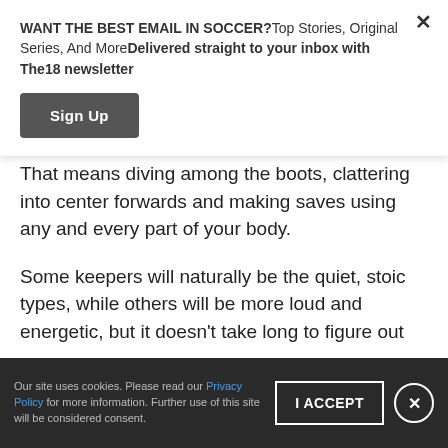WANT THE BEST EMAIL IN SOCCER?Top Stories, Original Series, And MoreDelivered straight to your inbox with The18 newsletter
Sign Up
That means diving among the boots, clattering into center forwards and making saves using any and every part of your body.
Some keepers will naturally be the quiet, stoic types, while others will be more loud and energetic, but it doesn't take long to figure out whether a keeper — at any level of the game — has this mentality.
Our site uses cookies. Please read our Privacy Policy for more information. Further use of this site will be considered consent.
I ACCEPT